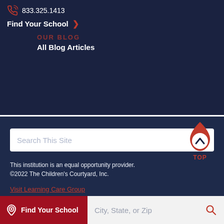833.325.1413
Find Your School >
OUR BLOG
All Blog Articles
[Figure (other): Search This Site input box with red search icon]
This institution is an equal opportunity provider. ©2022 The Children's Courtyard, Inc.
Visit Learning Care Group
Privacy Policy
Terms of Service
Areas We Serve
[Figure (other): Red drop/teardrop shape with upward chevron arrow and TOP label]
Find Your School | City, State, or Zip